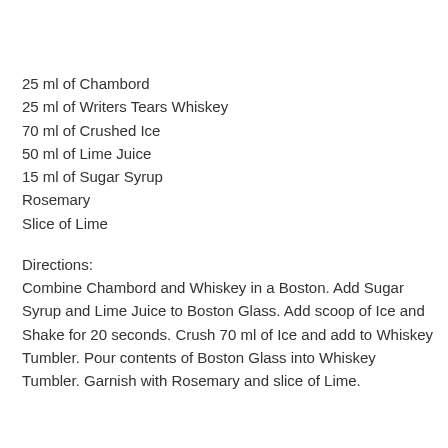25 ml of Chambord
25 ml of Writers Tears Whiskey
70 ml of Crushed Ice
50 ml of Lime Juice
15 ml of Sugar Syrup
Rosemary
Slice of Lime
Directions:
Combine Chambord and Whiskey in a Boston. Add Sugar Syrup and Lime Juice to Boston Glass. Add scoop of Ice and Shake for 20 seconds. Crush 70 ml of Ice and add to Whiskey Tumbler. Pour contents of Boston Glass into Whiskey Tumbler. Garnish with Rosemary and slice of Lime.